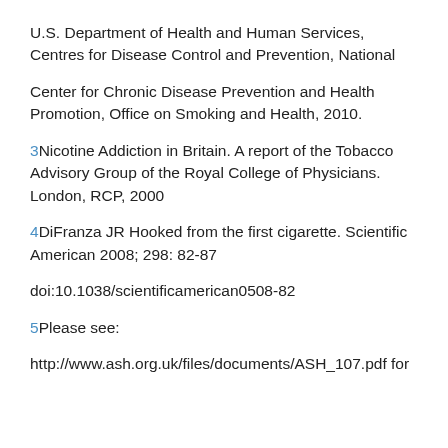U.S. Department of Health and Human Services, Centres for Disease Control and Prevention, National
Center for Chronic Disease Prevention and Health Promotion, Office on Smoking and Health, 2010.
3Nicotine Addiction in Britain. A report of the Tobacco Advisory Group of the Royal College of Physicians. London, RCP, 2000
4DiFranza JR Hooked from the first cigarette. Scientific American 2008; 298: 82-87
doi:10.1038/scientificamerican0508-82
5Please see:
http://www.ash.org.uk/files/documents/ASH_107.pdf for